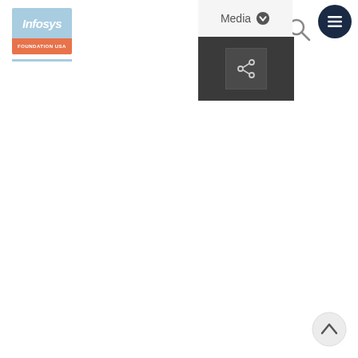[Figure (logo): Infosys Foundation USA logo — blue rectangle with white italic 'Infosys' text on top, orange rectangle with white 'FOUNDATION USA' text on bottom]
[Figure (screenshot): Media navigation dropdown menu showing 'Media' label with chevron and a share icon on dark background]
[Figure (other): Search magnifier icon button]
[Figure (other): Dark navy hamburger menu button (three horizontal lines in circle)]
[Figure (other): Back to top arrow button (light grey circle with upward chevron)]